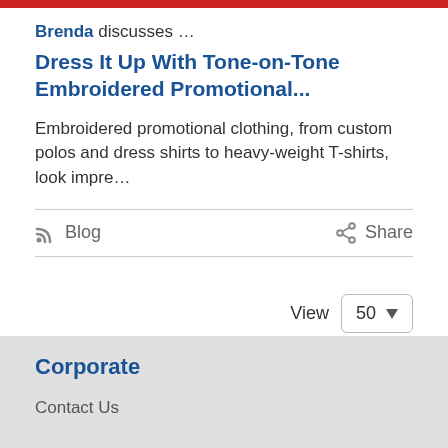[Figure (photo): Red image strip at top of page]
Brenda discusses …
Dress It Up With Tone-on-Tone Embroidered Promotional...
Embroidered promotional clothing, from custom polos and dress shirts to heavy-weight T-shirts, look impre…
Blog   Share
View  50
Corporate
Contact Us